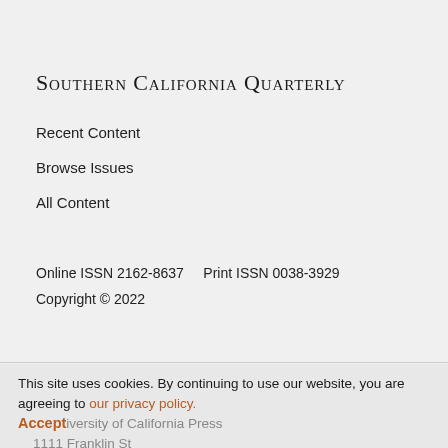Southern California Quarterly
Recent Content
Browse Issues
All Content
Online ISSN 2162-8637     Print ISSN 0038-3929
Copyright © 2022
This site uses cookies. By continuing to use our website, you are agreeing to our privacy policy. Accept University of California Press 1111 Franklin St